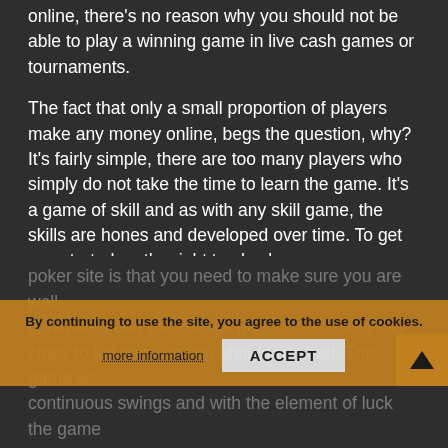online, there's no reason why you should not be able to play a winning game in live cash games or tournaments.
The fact that only a small proportion of players make any money online, begs the question, why? It's fairly simple, there are too many players who simply do not take the time to learn the game. It's a game of skill and as with any skill game, the skills are hones and developed over time. To get you started on the right tracks, here are some simple things that you can do to improve your online game.
Bankroll Management ..
One of the most important aspects of playing at an online poker site is that you need to make sure you are well bankrolled and this means having a stack of cash chips to fall back on you should run bad. The game see continuous swings and with the element of luck the game
By continuing to use the site, you agree to the use of cookies.
more information
ACCEPT